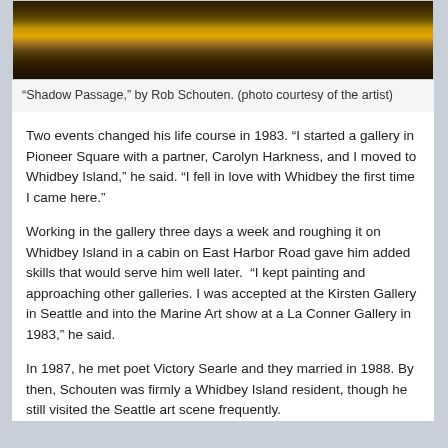[Figure (photo): Painting showing birds near water with golden sunset light reflecting off the water surface, dark rocks in foreground]
“Shadow Passage,” by Rob Schouten. (photo courtesy of the artist)
Two events changed his life course in 1983. “I started a gallery in Pioneer Square with a partner, Carolyn Harkness, and I moved to Whidbey Island,” he said. “I fell in love with Whidbey the first time I came here.”
Working in the gallery three days a week and roughing it on Whidbey Island in a cabin on East Harbor Road gave him added skills that would serve him well later. “I kept painting and approaching other galleries. I was accepted at the Kirsten Gallery in Seattle and into the Marine Art show at a La Conner Gallery in 1983,” he said.
In 1987, he met poet Victory Searle and they married in 1988. By then, Schouten was firmly a Whidbey Island resident, though he still visited the Seattle art scene frequently.